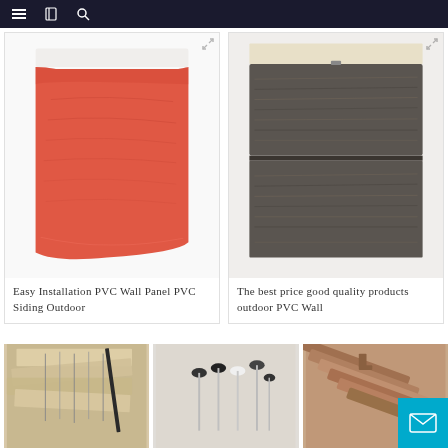Navigation bar with menu, logo, and search icons
[Figure (photo): Red/coral colored PVC wall panel siding piece with wood grain texture, white backing visible at top]
Easy Installation PVC Wall Panel PVC Siding Outdoor
[Figure (photo): Dark gray/brown wood grain textured PVC wall panels stacked, showing two panel sections]
The best price good quality products outdoor PVC Wall
[Figure (photo): Light wood planks with nails/screws scattered on top]
[Figure (photo): Metal nails/screws with black and white plastic caps, multiple pieces]
[Figure (photo): Brown/reddish PVC trim or molding pieces stacked at an angle]